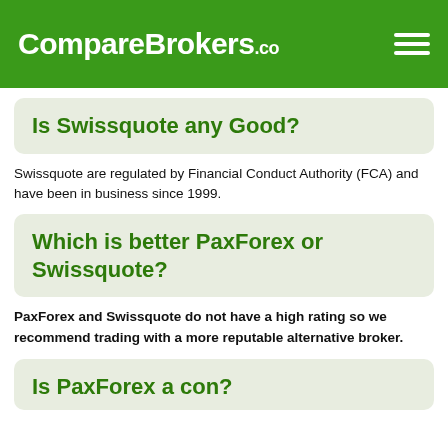CompareBrokers.co
Is Swissquote any Good?
Swissquote are regulated by Financial Conduct Authority (FCA) and have been in business since 1999.
Which is better PaxForex or Swissquote?
PaxForex and Swissquote do not have a high rating so we recommend trading with a more reputable alternative broker.
Is PaxForex a con?